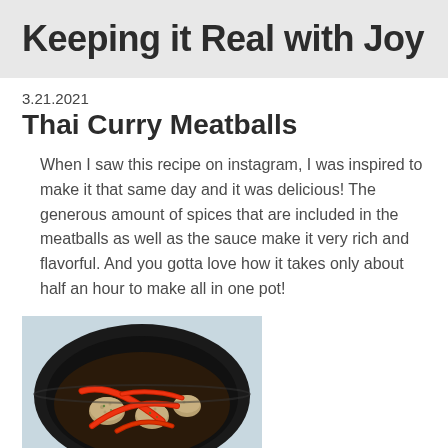Keeping it Real with Joy
3.21.2021
Thai Curry Meatballs
When I saw this recipe on instagram, I was inspired to make it that same day and it was delicious! The generous amount of spices that are included in the meatballs as well as the sauce make it very rich and flavorful. And you gotta love how it takes only about half an hour to make all in one pot!
[Figure (photo): Overhead view of a dark skillet/wok containing meatballs and sliced red bell peppers in a Thai curry sauce]